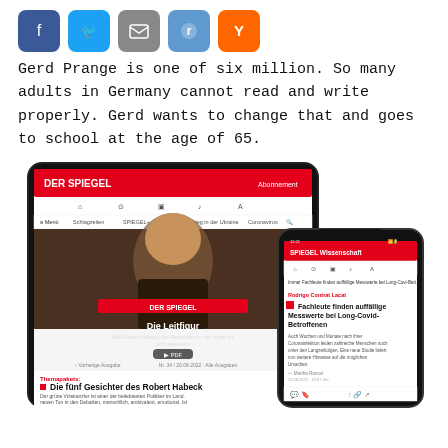[Figure (screenshot): Social media share icons: Facebook (blue), Twitter (light blue), Email (grey), Reddit (blue), Hacker News/Y Combinator (orange)]
Gerd Prange is one of six million. So many adults in Germany cannot read and write properly. Gerd wants to change that and goes to school at the age of 65.
[Figure (screenshot): Screenshot of Der Spiegel website on a tablet and smartphone, showing news articles including 'Die Leitfigur' and 'Die fünf Gesichter des Robert Habeck' on the tablet, and 'Fachleute finden auffällige Messwerte bei Long-Covid-Betroffenen' on the smartphone.]